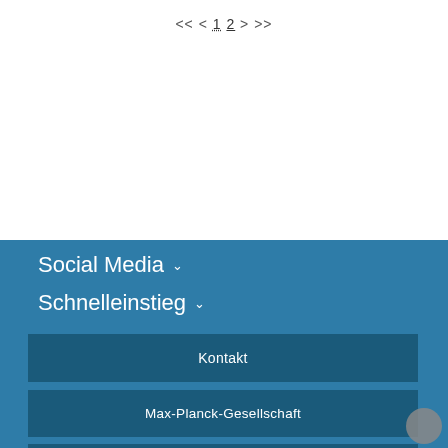<< < 1 2 > >>
Social Media ∨
Schnelleinstieg ∨
Kontakt
Max-Planck-Gesellschaft
Intranet
Verhaltenskodex
Diskriminierungsschutz